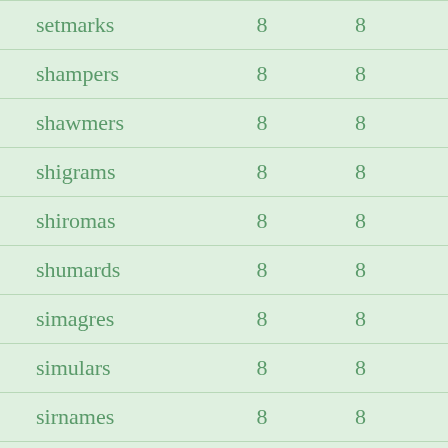| setmarks | 8 | 8 |
| shampers | 8 | 8 |
| shawmers | 8 | 8 |
| shigrams | 8 | 8 |
| shiromas | 8 | 8 |
| shumards | 8 | 8 |
| simagres | 8 | 8 |
| simulars | 8 | 8 |
| sirnames | 8 | 8 |